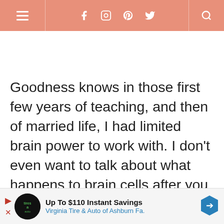Navigation bar with hamburger menu, social icons (Facebook, Instagram, Pinterest, Twitter), and search icon
Goodness knows in those first few years of teaching, and then of married life, I had limited brain power to work with. I don't even want to talk about what happens to brain cells after you have a baby. And then a second one. Can I get an Amen?!
[Figure (other): Advertisement banner: Up To $110 Instant Savings - Virginia Tire & Auto of Ashburn Fa. with play/close controls, logo, and blue diamond arrow icon]